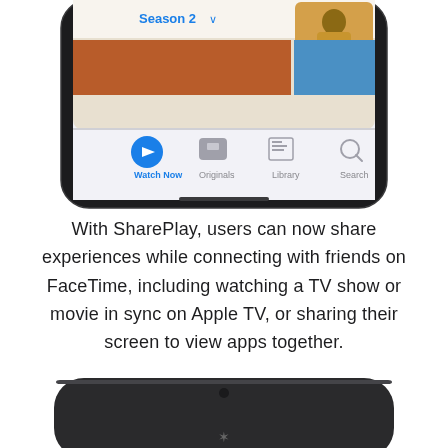[Figure (screenshot): iPhone showing Apple TV+ app with Season 2 dropdown, Watch Now tab selected (blue play icon), Originals, Library, Search tabs at bottom. A FaceTime picture-in-picture shows a person in an orange sweater in top right corner.]
With SharePlay, users can now share experiences while connecting with friends on FaceTime, including watching a TV show or movie in sync on Apple TV, or sharing their screen to view apps together.
[Figure (photo): Top edge of an iPhone device (dark/black colored), partially cropped, showing just the top rounded corners of the phone body.]